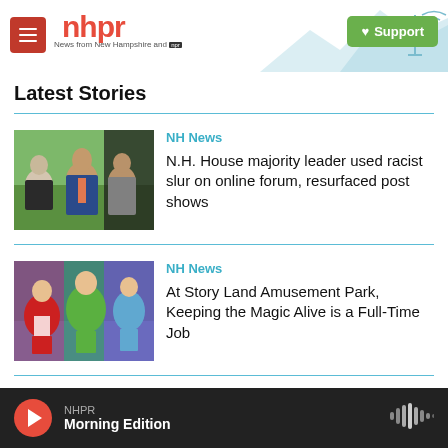nhpr - News from New Hampshire and NPR | Support
Latest Stories
[Figure (photo): Photo of people at an outdoor event, including a man in a blue suit]
NH News
N.H. House majority leader used racist slur on online forum, resurfaced post shows
[Figure (photo): Photo of performers in costumes including Little Red Riding Hood and Peter Pan]
NH News
At Story Land Amusement Park, Keeping the Magic Alive is a Full-Time Job
[Figure (photo): Partial photo visible at bottom, third story]
NH N...
NHPR Morning Edition